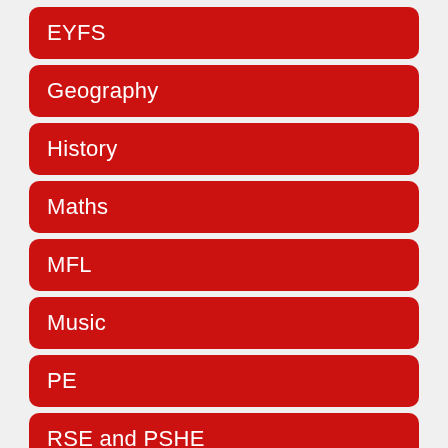EYFS
Geography
History
Maths
MFL
Music
PE
RSE and PSHE